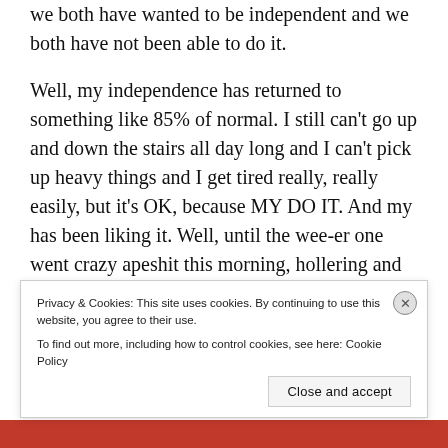we both have wanted to be independent and we both have not been able to do it.
Well, my independence has returned to something like 85% of normal. I still can't go up and down the stairs all day long and I can't pick up heavy things and I get tired really, really easily, but it's OK, because MY DO IT. And my has been liking it. Well, until the wee-er one went crazy apeshit this morning, hollering and shrieking (and that was before the sitter got here).
The sitter calmed her down, though, and off I went
Privacy & Cookies: This site uses cookies. By continuing to use this website, you agree to their use.
To find out more, including how to control cookies, see here: Cookie Policy
Close and accept